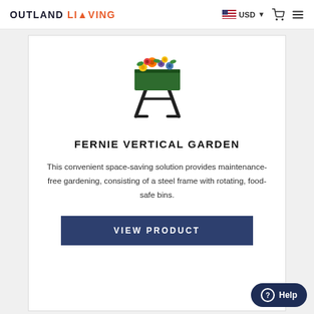OUTLAND LIVING USD
[Figure (photo): Product photo of the Fernie Vertical Garden — a green rectangular planter box with colorful flowers on a black A-frame steel stand]
FERNIE VERTICAL GARDEN
This convenient space-saving solution provides maintenance-free gardening, consisting of a steel frame with rotating, food-safe bins.
VIEW PRODUCT
Help